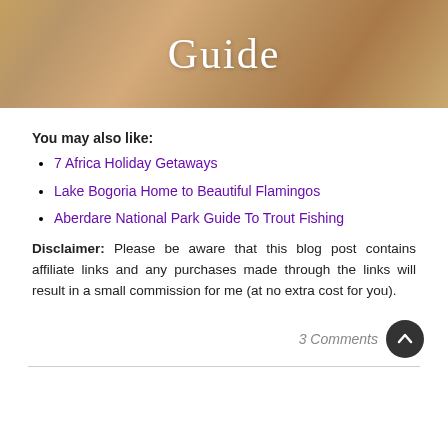[Figure (photo): Hero banner image with warm brown/tan tones (animal fur texture background) with the word 'Guide' in white serif font centered on it]
You may also like:
7 Africa Holiday Getaways
Lake Bogoria Home to Beautiful Flamingos
Aberdare National Park Guide To Trout Fishing
Disclaimer: Please be aware that this blog post contains affiliate links and any purchases made through the links will result in a small commission for me (at no extra cost for you).
3 Comments